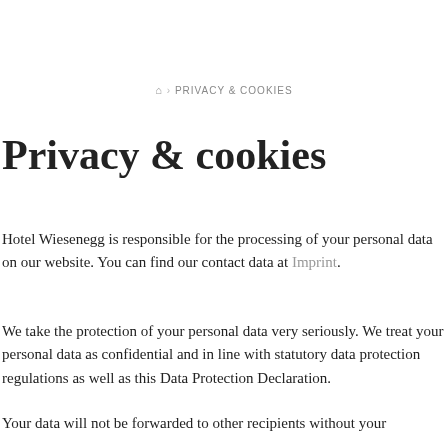🏠 › PRIVACY & COOKIES
Privacy & cookies
Hotel Wiesenegg is responsible for the processing of your personal data on our website. You can find our contact data at Imprint.
We take the protection of your personal data very seriously. We treat your personal data as confidential and in line with statutory data protection regulations as well as this Data Protection Declaration.
Your data will not be forwarded to other recipients without your